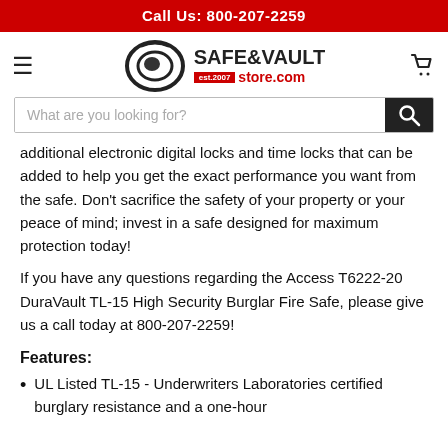Call Us: 800-207-2259
[Figure (logo): Safe & Vault Store.com logo with hamburger menu and cart icon]
[Figure (other): Search bar with placeholder text 'What are you looking for?' and search button]
additional electronic digital locks and time locks that can be added to help you get the exact performance you want from the safe. Don't sacrifice the safety of your property or your peace of mind; invest in a safe designed for maximum protection today!
If you have any questions regarding the Access T6222-20 DuraVault TL-15 High Security Burglar Fire Safe, please give us a call today at 800-207-2259!
Features:
UL Listed TL-15 - Underwriters Laboratories certified burglary resistance and a one-hour